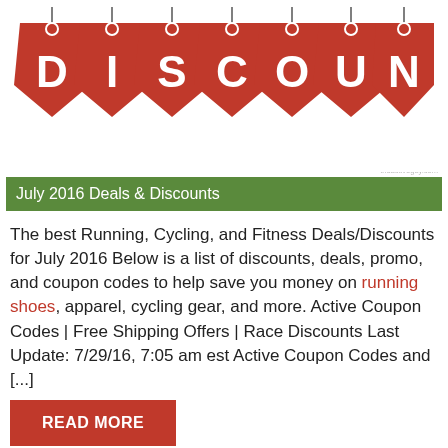[Figure (illustration): Red price tags spelling out DISCOUNT with white bold letters on each tag, hanging from strings at the top]
theactiveguy.com
July 2016 Deals & Discounts
The best Running, Cycling, and Fitness Deals/Discounts for July 2016 Below is a list of discounts, deals, promo, and coupon codes to help save you money on running shoes, apparel, cycling gear, and more. Active Coupon Codes | Free Shipping Offers | Race Discounts Last Update: 7/29/16, 7:05 am est Active Coupon Codes and [...]
READ MORE
deal
discount